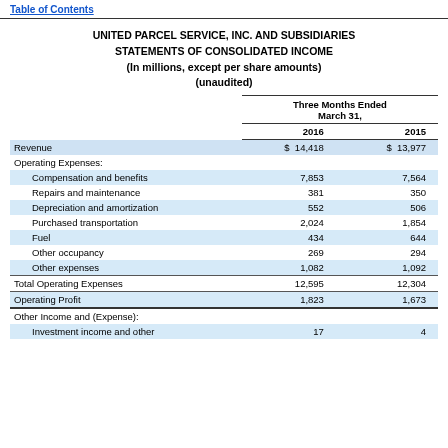Table of Contents
UNITED PARCEL SERVICE, INC. AND SUBSIDIARIES
STATEMENTS OF CONSOLIDATED INCOME
(In millions, except per share amounts)
(unaudited)
|  | Three Months Ended March 31, 2016 | Three Months Ended March 31, 2015 |
| --- | --- | --- |
| Revenue | $ 14,418 | $ 13,977 |
| Operating Expenses: |  |  |
| Compensation and benefits | 7,853 | 7,564 |
| Repairs and maintenance | 381 | 350 |
| Depreciation and amortization | 552 | 506 |
| Purchased transportation | 2,024 | 1,854 |
| Fuel | 434 | 644 |
| Other occupancy | 269 | 294 |
| Other expenses | 1,082 | 1,092 |
| Total Operating Expenses | 12,595 | 12,304 |
| Operating Profit | 1,823 | 1,673 |
| Other Income and (Expense): |  |  |
| Investment income and other | 17 | 4 |